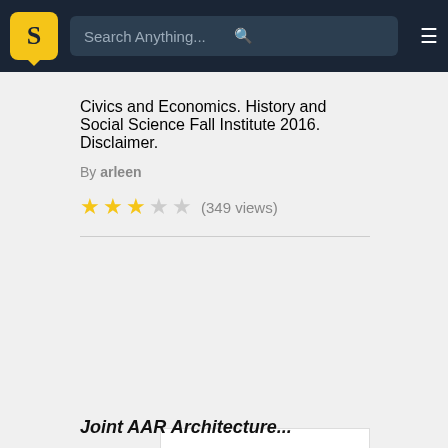Search Anything...
Civics and Economics. History and Social Science Fall Institute 2016. Disclaimer.
By arleen
★★★☆☆ (349 views)
[Figure (screenshot): Document preview card showing 'Joint AAR Architecture Development' with subtitle 'Evolution of the OneSAF AAR Architecture']
Joint AAR Architecture...